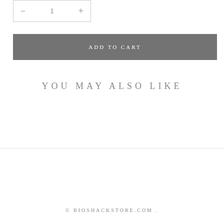[Figure (other): Quantity selector box with minus button, number 1, and plus button]
ADD TO CART
YOU MAY ALSO LIKE
© BIOSHACKSTORE.COM .